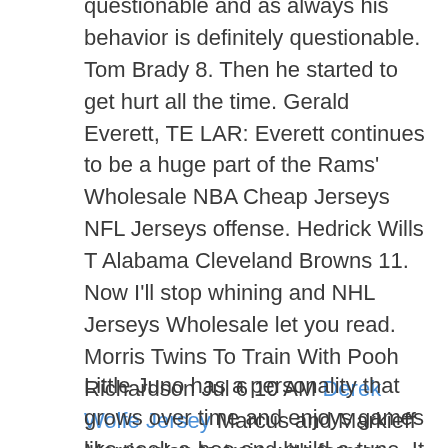questionable and as always his behavior is definitely questionable. Tom Brady 8. Then he started to get hurt all the time. Gerald Everett, TE LAR: Everett continues to be a huge part of the Rams' Wholesale NBA Cheap Jerseys NFL Jerseys offense. Hedrick Wills T Alabama Cleveland Browns 11. Now I'll stop whining and NHL Jerseys Wholesale let you read. Morris Twins To Train With Pooh Richardson Jul 6 10 AM Derek Wolfe Jersey Marcus and Markieff Morris plan to train with former NBA point guard Pooh Richardson this summer. 6 — Alex Goligoski tallied one goal and one assist in 21 of ice time in the Coyotes' 5 loss to the Hurricanes on Thursday.
Little Juno has a personality that grows over time and enjoys games like peek-a-boo and build-a-tune. It was the first point for each of them, but they were dangerous nearly every time they stepped on the ice during their five games. Then he started to get hurt all